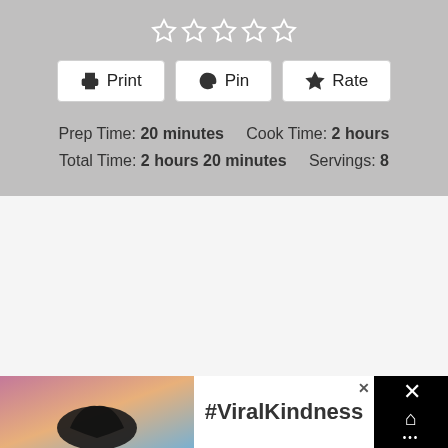[Figure (other): Five hollow star rating icons in white on gray background]
Print | Pin | Rate (action buttons)
Prep Time: 20 minutes    Cook Time: 2 hours
Total Time: 2 hours 20 minutes    Servings: 8
[Figure (photo): Advertisement banner at bottom showing silhouette of hands making a heart shape against a colorful sky, with text #ViralKindness and a close button. Right side black panel with X and thermometer icons.]